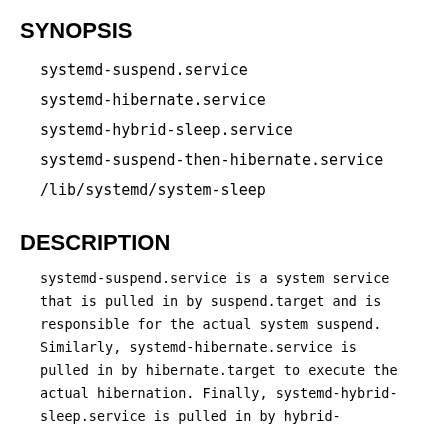SYNOPSIS
systemd-suspend.service
systemd-hibernate.service
systemd-hybrid-sleep.service
systemd-suspend-then-hibernate.service
/lib/systemd/system-sleep
DESCRIPTION
systemd-suspend.service is a system service that is pulled in by suspend.target and is responsible for the actual system suspend. Similarly, systemd-hibernate.service is pulled in by hibernate.target to execute the actual hibernation. Finally, systemd-hybrid-sleep.service is pulled in by hybrid-